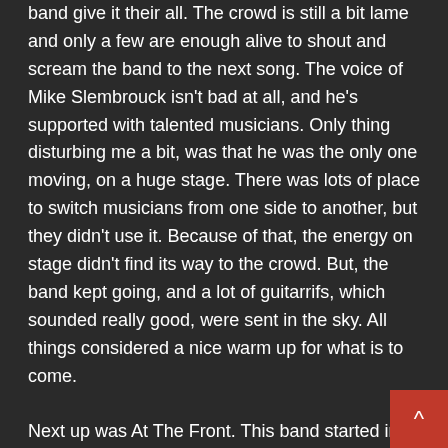band give it their all. The crowd is still a bit lame and only a few are enough alive to shout and scream the band to the next song. The voice of Mike Slembrouck isn't bad at all, and he's supported with talented musicians. Only thing disturbing me a bit, was that he was the only one moving, on a huge stage. There was lots of place to switch musicians from one side to another, but they didn't use it. Because of that, the energy on stage didn't find its way to the crowd. But, the band kept going, and a lot of guitarrifs, which sounded really good, were sent in the sky. All things considered a nice warm up for what is to come.
Next up was At The Front. This band started in the early nineties, but disappeared soon after.  In 2014 they came back in the picture, made a few changes and look how good they are doing now. This Belgian trash metal band, started a bit slow, but soon they got the vibe and took the crowd on a various trip. This early in the afternoon and getting the people